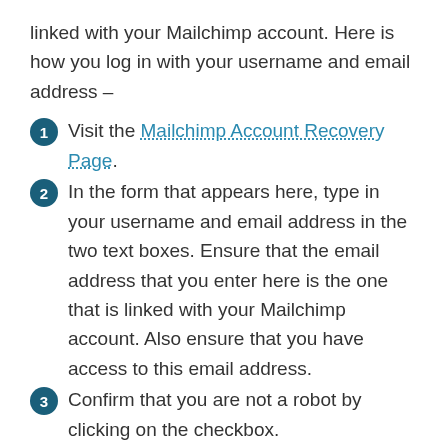linked with your Mailchimp account. Here is how you log in with your username and email address –
Visit the Mailchimp Account Recovery Page.
In the form that appears here, type in your username and email address in the two text boxes. Ensure that the email address that you enter here is the one that is linked with your Mailchimp account. Also ensure that you have access to this email address.
Confirm that you are not a robot by clicking on the checkbox.
Finally, click on Continue.
You will receive an email from Mailchimp.